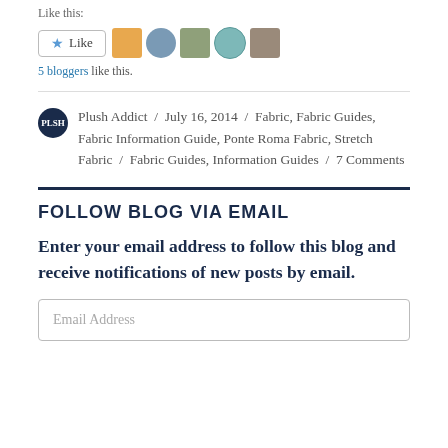Like this:
[Figure (other): Like button with star icon and 5 blogger avatars]
5 bloggers like this.
Plush Addict / July 16, 2014 / Fabric, Fabric Guides, Fabric Information Guide, Ponte Roma Fabric, Stretch Fabric / Fabric Guides, Information Guides / 7 Comments
FOLLOW BLOG VIA EMAIL
Enter your email address to follow this blog and receive notifications of new posts by email.
Email Address